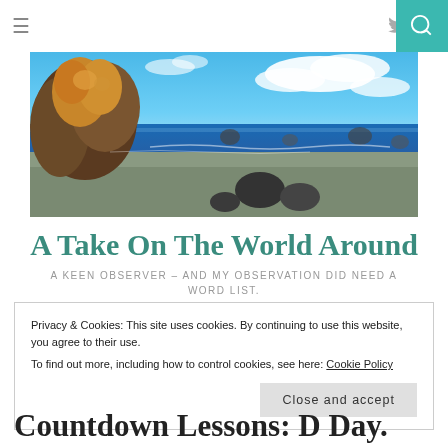≡  🐦 in 🔍
[Figure (photo): Coastal beach scene with large rocky outcroppings on the left, sandy beach, blue ocean and sky with white clouds in the background.]
A Take On The World Around
A KEEN OBSERVER – AND MY OBSERVATION DID NEED A WORD LIST.
Privacy & Cookies: This site uses cookies. By continuing to use this website, you agree to their use.
To find out more, including how to control cookies, see here: Cookie Policy

Close and accept
Countdown Lessons: D Day.